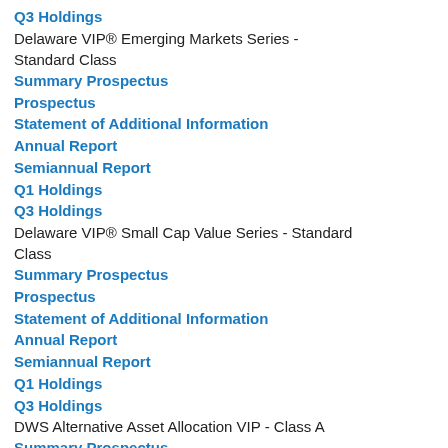Q3 Holdings
Delaware VIP® Emerging Markets Series - Standard Class
Summary Prospectus
Prospectus
Statement of Additional Information
Annual Report
Semiannual Report
Q1 Holdings
Q3 Holdings
Delaware VIP® Small Cap Value Series - Standard Class
Summary Prospectus
Prospectus
Statement of Additional Information
Annual Report
Semiannual Report
Q1 Holdings
Q3 Holdings
DWS Alternative Asset Allocation VIP - Class A
Summary Prospectus